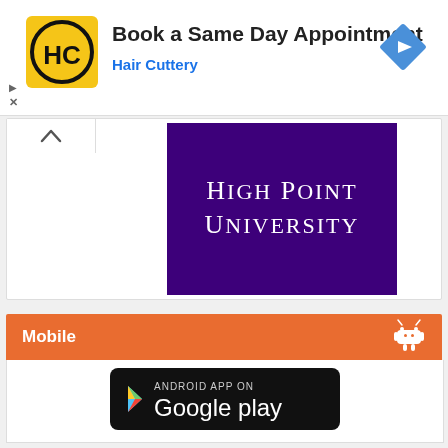[Figure (logo): Hair Cuttery HC logo in yellow circle with black border]
Book a Same Day Appointment
Hair Cuttery
[Figure (logo): Blue diamond navigation arrow icon]
[Figure (logo): High Point University logo on purple background]
Mobile
[Figure (logo): Android robot icon white on orange]
[Figure (screenshot): Android App on Google Play black badge with Play triangle logo]